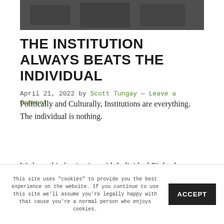[Figure (photo): Dark grayscale image partially visible at top of page]
THE INSTITUTION ALWAYS BEATS THE INDIVIDUAL
April 21, 2022 by Scott Tungay — Leave a Comment
Politically and Culturally, Institutions are everything. The individual is nothing.
We have this fascination with Individual Rights because we have no Tribal
This site uses "cookies" to provide you the best experience on the website. If you continue to use this site we'll assume you're legally happy with that cause you're a normal person who enjoys cookies.